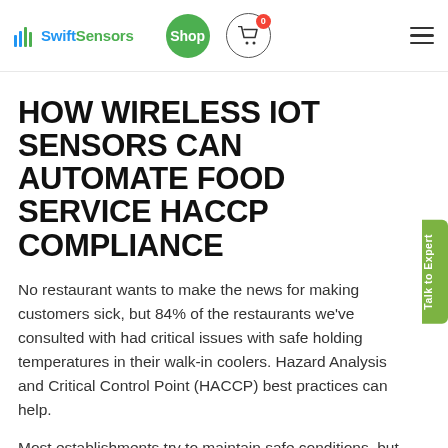SwiftSensors | Shop | Cart (0)
HOW WIRELESS IOT SENSORS CAN AUTOMATE FOOD SERVICE HACCP COMPLIANCE
No restaurant wants to make the news for making customers sick, but 84% of the restaurants we've consulted with had critical issues with safe holding temperatures in their walk-in coolers. Hazard Analysis and Critical Control Point (HACCP) best practices can help.
Most establishments try to maintain safe conditions, but they can't fully follow HACCP rules and data to ensure...